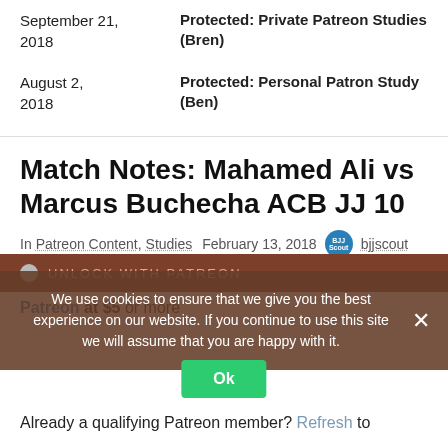September 21, 2018 — Protected: Private Patreon Studies (Bren)
August 2, 2018 — Protected: Personal Patron Study (Ben)
Match Notes: Mahamed Ali vs Marcus Buchecha ACB JJ 10
In Patreon Content, Studies  February 13, 2018  bjjscout
To view this content, you must be a member of BJJ's Patreon at $5 or more
We use cookies to ensure that we give you the best experience on our website. If you continue to use this site we will assume that you are happy with it.
Already a qualifying Patreon member? Refresh to